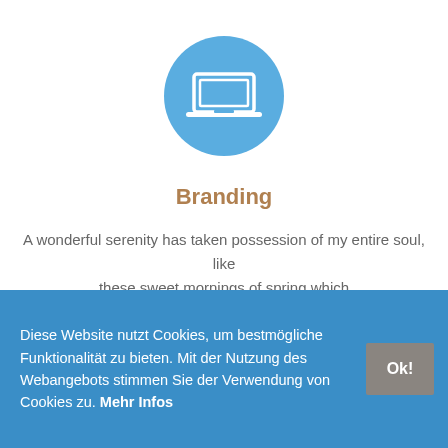[Figure (illustration): A sky-blue circle containing a white laptop/computer icon]
Branding
A wonderful serenity has taken possession of my entire soul, like these sweet mornings of spring which
Diese Website nutzt Cookies, um bestmögliche Funktionalität zu bieten. Mit der Nutzung des Webangebots stimmen Sie der Verwendung von Cookies zu. Mehr Infos